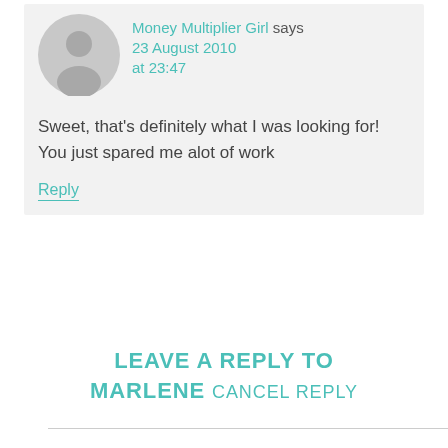[Figure (illustration): Generic user avatar: a gray circle with a silhouette of a person (head and shoulders) in a lighter gray.]
Money Multiplier Girl says
23 August 2010 at 23:47
Sweet, that's definitely what I was looking for! You just spared me alot of work
Reply
LEAVE A REPLY TO MARLENE   CANCEL REPLY